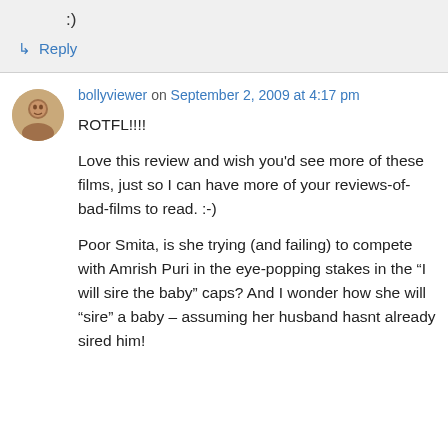:)
↳ Reply
bollyviewer on September 2, 2009 at 4:17 pm
ROTFL!!!!
Love this review and wish you'd see more of these films, just so I can have more of your reviews-of-bad-films to read. :-)
Poor Smita, is she trying (and failing) to compete with Amrish Puri in the eye-popping stakes in the “I will sire the baby” caps? And I wonder how she will “sire” a baby – assuming her husband hasnt already sired him!